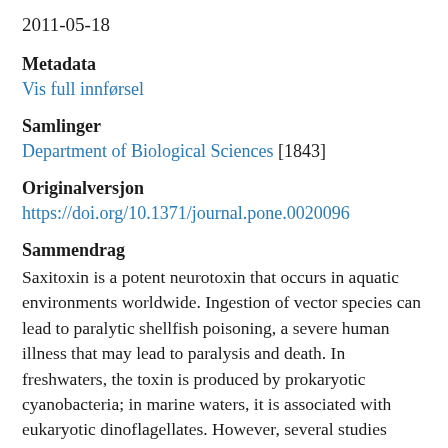2011-05-18
Metadata
Vis full innførsel
Samlinger
Department of Biological Sciences [1843]
Originalversjon
https://doi.org/10.1371/journal.pone.0020096
Sammendrag
Saxitoxin is a potent neurotoxin that occurs in aquatic environments worldwide. Ingestion of vector species can lead to paralytic shellfish poisoning, a severe human illness that may lead to paralysis and death. In freshwaters, the toxin is produced by prokaryotic cyanobacteria; in marine waters, it is associated with eukaryotic dinoflagellates. However, several studies suggest that saxitoxin is not produced by